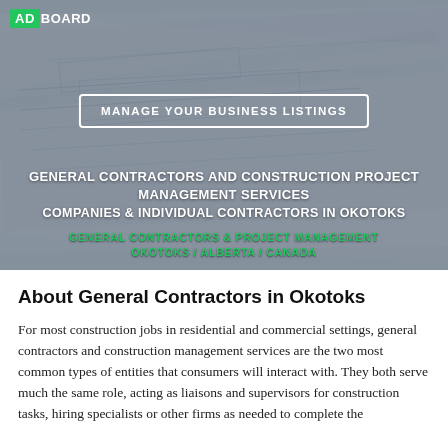[Figure (photo): Hero banner with a background image of stacked architectural blueprints/construction drawings, slightly dark overlay. Contains the AdBoard logo, a 'Manage Your Business Listings' button, and heading text about General Contractors in Okotoks.]
MANAGE YOUR BUSINESS LISTINGS
GENERAL CONTRACTORS AND CONSTRUCTION PROJECT MANAGEMENT SERVICES
COMPANIES & INDIVIDUAL CONTRACTORS IN OKOTOKS
GENERAL CONTRACTORS & PROJECT MANAGEMENT
OKOTOKS / ALBERTA / CANADA
About General Contractors in Okotoks
For most construction jobs in residential and commercial settings, general contractors and construction management services are the two most common types of entities that consumers will interact with. They both serve much the same role, acting as liaisons and supervisors for construction tasks, hiring specialists or other firms as needed to complete the